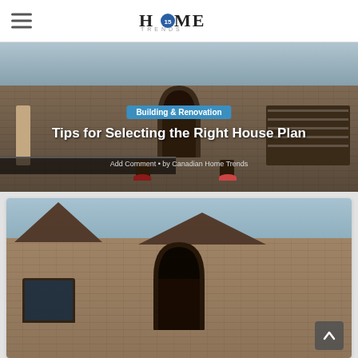HOME TRENDS
[Figure (photo): Hero image of a large two-storey stone brick house facade with arched entrance, large garage door, decorative ironwork fence, and flower planters. Overlaid with category badge and title text.]
Tips for Selecting the Right House Plan
Building & Renovation
Add Comment • by Canadian Home Trends
[Figure (photo): Article image showing a bungalow-style stone house with arched entryway, large windows, angled rooflines, and landscaped front entrance under a blue sky.]